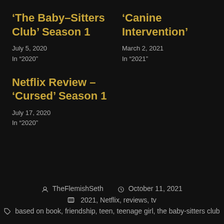‘The Baby-Sitters Club’ Season 1
July 5, 2020
In ‘2020’
‘Canine Intervention’
March 2, 2021
In ‘2021’
Netflix Review – ‘Cursed’ Season 1
July 17, 2020
In ‘2020’
TheFlemishSeth   October 11, 2021
2021, Netflix, reviews, tv
based on book, friendship, teen, teenage girl, the baby-sitters club